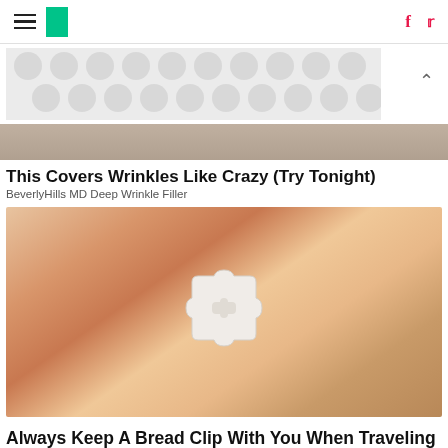HuffPost navigation with hamburger menu, HP logo, Facebook and Twitter icons
[Figure (photo): Advertisement banner with polka dot grey pattern, partially visible hand/person photo below]
This Covers Wrinkles Like Crazy (Try Tonight)
BeverlyHills MD Deep Wrinkle Filler
[Figure (photo): A hand palm-up holding a small white plastic bread clip/tag with a keyhole-shaped cutout, on a skin/tan background]
Always Keep A Bread Clip With You When Traveling